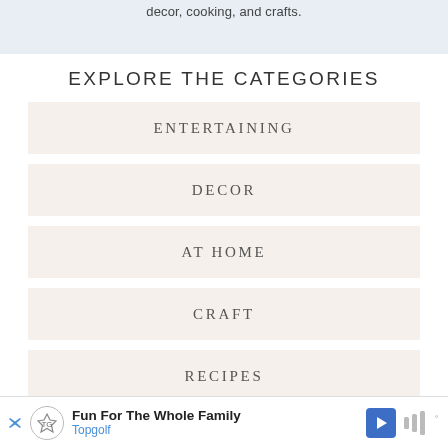decor, cooking, and crafts.
EXPLORE THE CATEGORIES
ENTERTAINING
DECOR
AT HOME
CRAFT
RECIPES
[Figure (other): Advertisement banner for Topgolf with text 'Fun For The Whole Family' and brand name 'Topgolf']